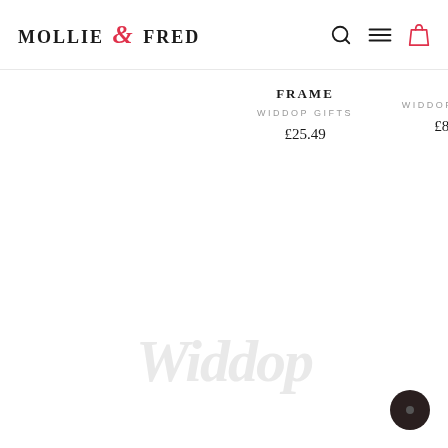MOLLIE & FRED
FRAME
WIDDOP GIFTS
£25.49
WIDDOP G
£8.99
[Figure (photo): Faded decorative text/watermark image in lower section of page, partially visible]
[Figure (other): Dark circular button in bottom right corner]